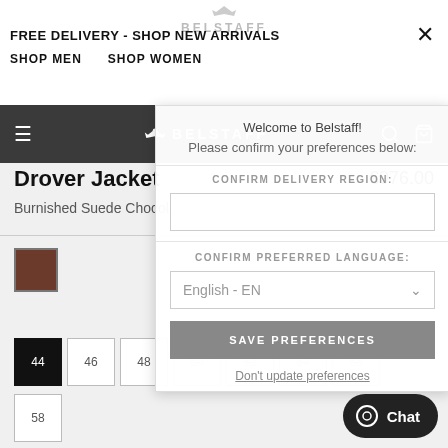FREE DELIVERY - SHOP NEW ARRIVALS | SHOP MEN | SHOP WOMEN | BELSTAFF
[Figure (screenshot): Belstaff website navigation bar with hamburger menu, Belstaff logo with wing emblem, search and bag icons on dark background]
Drover Jacket
Burnished Suede Chocolate Brown
€976.00
€1,395.00 -30%
[Figure (screenshot): Preferences modal overlay with: Welcome to Belstaff!, Please confirm your preferences below:, CONFIRM DELIVERY REGION section, CONFIRM PREFERRED LANGUAGE section with English - EN dropdown, SAVE PREFERENCES button, Don't update preferences link]
[Figure (screenshot): Brown color swatch selected for Chocolate Brown color]
44  46  48  50  52  54  56 (size buttons, with 44 selected and 50-56 struck through)
58
[Figure (screenshot): Chat button in bottom right corner]